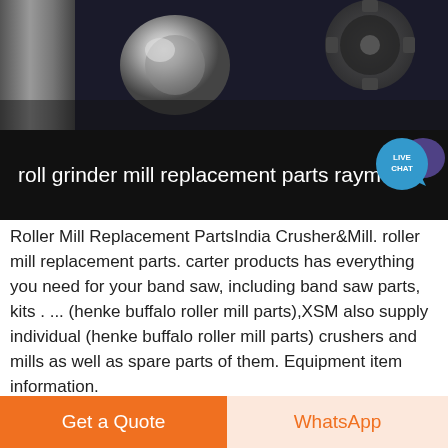[Figure (photo): Industrial machinery photo showing mechanical roller/grinder components with pipes and gears on dark background]
roll grinder mill replacement parts raymond
[Figure (illustration): Live Chat bubble icon in teal/blue with speech bubble shape]
Roller Mill Replacement PartsIndia Crusher&Mill. roller mill replacement parts. carter products has everything you need for your band saw, including band saw parts, kits . ... (henke buffalo roller mill parts),XSM also supply individual (henke buffalo roller mill parts) crushers and mills as well as spare parts of them. Equipment item information.
Get More
[Figure (photo): Bottom strip showing industrial machinery/equipment photos]
Get a Quote
WhatsApp